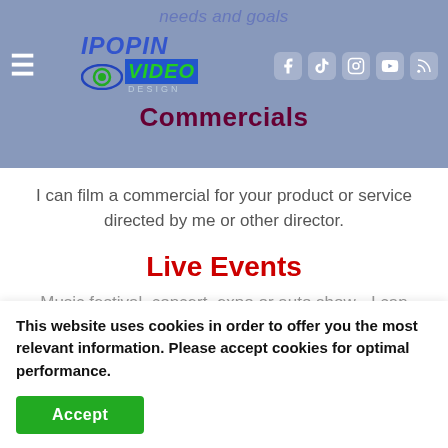needs and goals
[Figure (logo): IPOPIN VIDEO DESIGN logo with eye icon, hamburger menu, and social media icons (Facebook, TikTok, Instagram, YouTube, RSS)]
Commercials
I can film a commercial for your product or service directed by me or other director.
Live Events
Music festival, concert, expo or auto show - I can capture the best moments.
This website uses cookies in order to offer you the most relevant information. Please accept cookies for optimal performance.